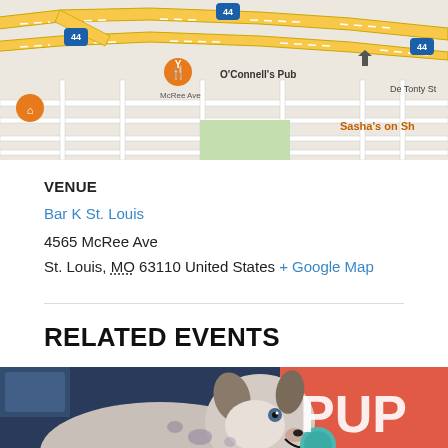[Figure (map): Google Maps snippet showing area near O'Connell's Pub and De Tonty St in St. Louis, with Interstate 44 highway, orange map markers for restaurants/bars, and 'Sasha's on Sh' partially visible at right edge.]
VENUE
Bar K St. Louis
4565 McRee Ave
St. Louis, MO 63110 United States + Google Map
RELATED EVENTS
[Figure (photo): A blue merle Australian Shepherd dog holding a teal ball in its mouth, photographed against a red/coral background with partial white text 'PUP' and 'N' visible.]